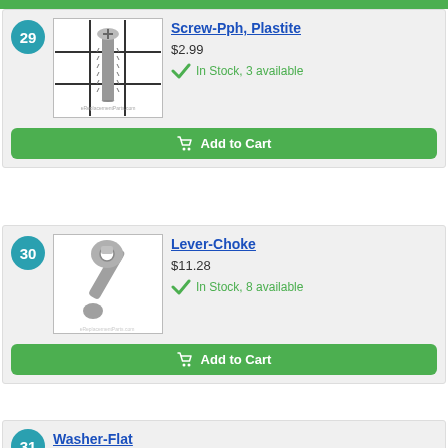[Figure (other): Green top bar strip]
29 - Screw-Pph, Plastite, $2.99, In Stock 3 available
30 - Lever-Choke, $11.28, In Stock 8 available
31 - Washer-Flat (partial)